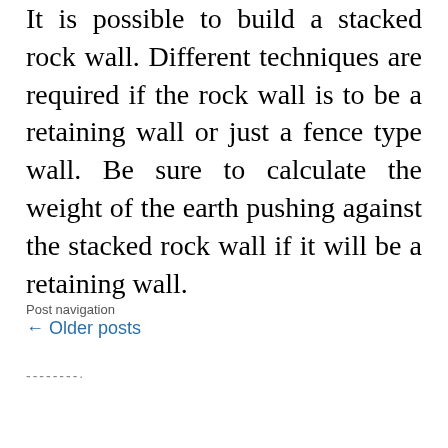It is possible to build a stacked rock wall. Different techniques are required if the rock wall is to be a retaining wall or just a fence type wall. Be sure to calculate the weight of the earth pushing against the stacked rock wall if it will be a retaining wall.
READ THE ANSWER »
Post navigation
← Older posts
--------·